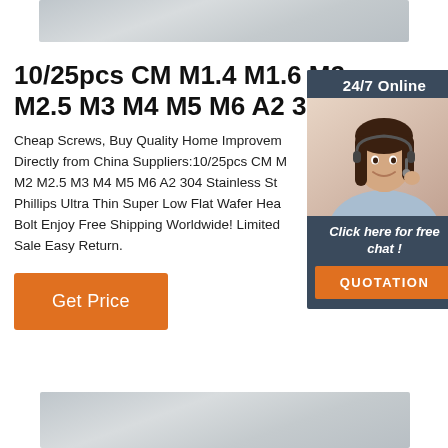[Figure (photo): Top banner image showing a metallic/gray surface texture]
10/25pcs CM M1.4 M1.6 M2 M2.5 M3 M4 M5 M6 A2 304
Cheap Screws, Buy Quality Home Improvement Directly from China Suppliers:10/25pcs CM M1.4 M1.6 M2 M2.5 M3 M4 M5 M6 A2 304 Stainless Steel Phillips Ultra Thin Super Low Flat Wafer Head Screw Bolt Enjoy Free Shipping Worldwide! Limited Time Sale Easy Return.
[Figure (infographic): 24/7 Online chat widget with agent photo, 'Click here for free chat!' text and QUOTATION button]
Get Price
[Figure (photo): Bottom banner image showing a metallic/gray surface texture]